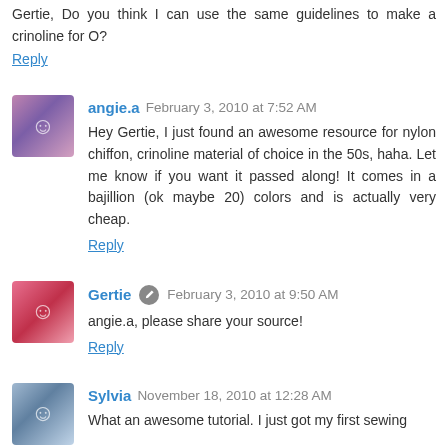Gertie, Do you think I can use the same guidelines to make a crinoline for O?
Reply
angie.a  February 3, 2010 at 7:52 AM
Hey Gertie, I just found an awesome resource for nylon chiffon, crinoline material of choice in the 50s, haha. Let me know if you want it passed along! It comes in a bajillion (ok maybe 20) colors and is actually very cheap.
Reply
Gertie  February 3, 2010 at 9:50 AM
angie.a, please share your source!
Reply
Sylvia  November 18, 2010 at 12:28 AM
What an awesome tutorial. I just got my first sewing